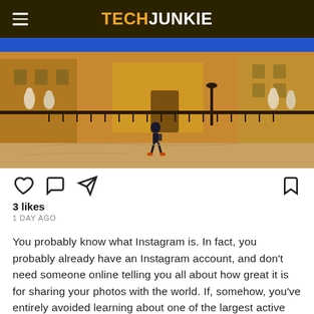TECHJUNKIE
[Figure (photo): A person walking through a historic European plaza with ornate statues and golden-toned baroque buildings in the background.]
3 likes
1 DAY AGO
You probably know what Instagram is. In fact, you probably already have an Instagram account, and don't need someone online telling you all about how great it is for sharing your photos with the world. If, somehow, you've entirely avoided learning about one of the largest active social networks, Instagram is a service for capturing and sharing square, 1:1 photos of the world around you, be it selfies, concert pictures, or photos of your food plates. As far as features go, Instagram